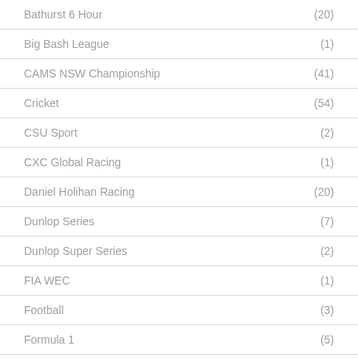Bathurst 6 Hour (20)
Big Bash League (1)
CAMS NSW Championship (41)
Cricket (54)
CSU Sport (2)
CXC Global Racing (1)
Daniel Holihan Racing (20)
Dunlop Series (7)
Dunlop Super Series (2)
FIA WEC (1)
Football (3)
Formula 1 (5)
Formula Ford (24)
Formula Vee (17)